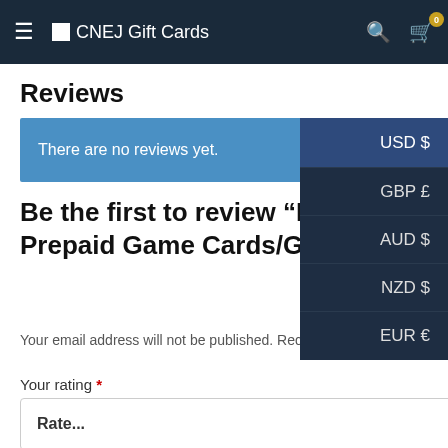CNEJ Gift Cards
Reviews
There are no reviews yet.
Be the first to review “League of Legends Prepaid Game Cards/G Cards”
Your email address will not be published. Required fields are marked *
Your rating *
Rate...
Name *